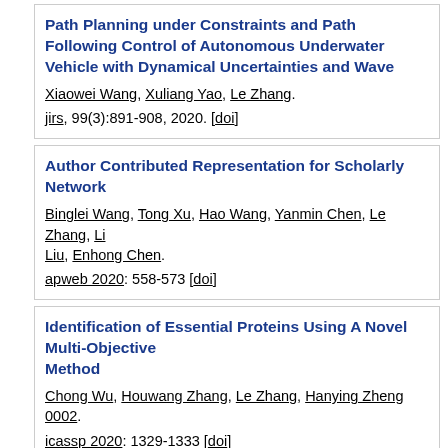Path Planning under Constraints and Path Following Control of Autonomous Underwater Vehicle with Dynamical Uncertainties and Wave Disturbances
Xiaowei Wang, Xuliang Yao, Le Zhang.
jirs, 99(3):891-908, 2020. [doi]
Author Contributed Representation for Scholarly Network
Binglei Wang, Tong Xu, Hao Wang, Yanmin Chen, Le Zhang, Li Liu, Enhong Chen.
apweb 2020: 558-573 [doi]
Identification of Essential Proteins Using A Novel Multi-Objective Method
Chong Wu, Houwang Zhang, Le Zhang, Hanying Zheng 0002.
icassp 2020: 1329-1333 [doi]
Superpixel Based Hierarchical Segmentation for Color Image
Chong Wu, Le Zhang, Houwang Zhang, Hong Yan.
ieicetd, 103-D(10):2346-2349, 2020. [doi]